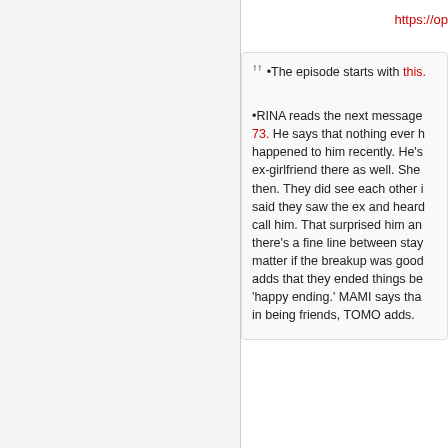https://op
•The episode starts with this.

•RINA reads the next message 73. He says that nothing ever happened to him recently. He's ex-girlfriend there as well. She then. They did see each other i said they saw the ex and heard call him. That surprised him an there's a fine line between stay matter if the breakup was good adds that they ended things be 'happy ending.' MAMI says tha in being friends, TOMO adds.